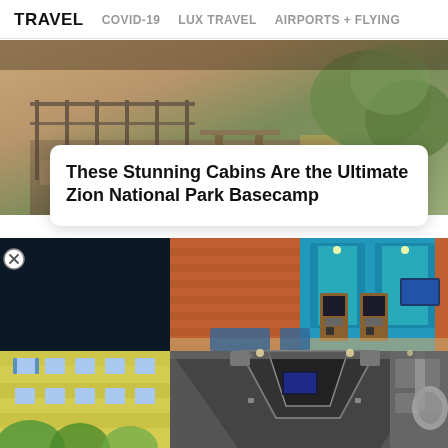TRAVEL  COVID-19  LUX TRAVEL  AIRPORTS + FLYING
[Figure (photo): Aerial view of a cabin deck with railing, outdoor furniture, and trees in background at Zion National Park]
These Stunning Cabins Are the Ultimate Zion National Park Basecamp
[Figure (photo): Dark/black panel on left; arcade game room with brick walls, blue lit alcoves, and vintage arcade cabinets on right]
[Figure (photo): Yellow building exterior with windows and tropical trees on left; sci-fi themed interior room with tunnel and slide on right]